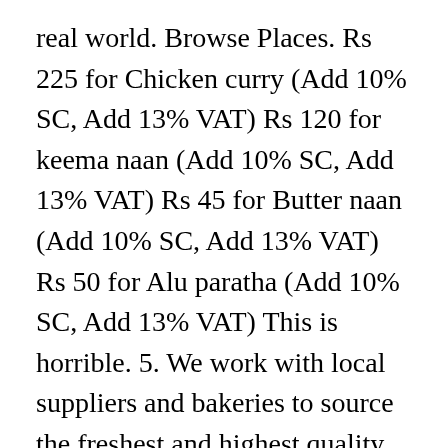real world. Browse Places. Rs 225 for Chicken curry (Add 10% SC, Add 13% VAT) Rs 120 for keema naan (Add 10% SC, Add 13% VAT) Rs 45 for Butter naan (Add 10% SC, Add 13% VAT) Rs 50 for Alu paratha (Add 10% SC, Add 13% VAT) This is horrible. 5. We work with local suppliers and bakeries to source the freshest and highest quality offerings. They have lots of flavors from common to unusual. The staff here is very friendly and you can customize your order. Is this a place where you buy ingredients to cook your own food? Праглядайце месцы. Browse Places. For Free Business Listing, write on email: [email protected] Menu. When you use Places, you We use whole wheat flour in our